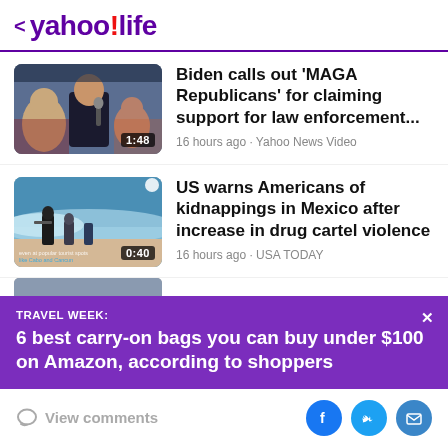< yahoo!life
[Figure (screenshot): Video thumbnail of Biden speaking at podium with crowd behind; duration badge 1:48]
Biden calls out ‘MAGA Republicans’ for claiming support for law enforcement...
16 hours ago · Yahoo News Video
[Figure (screenshot): Video thumbnail of soldiers/people on beach with waves; text overlay about popular tourist spots; duration badge 0:40]
US warns Americans of kidnappings in Mexico after increase in drug cartel violence
16 hours ago · USA TODAY
TRAVEL WEEK:
6 best carry-on bags you can buy under $100 on Amazon, according to shoppers
View comments